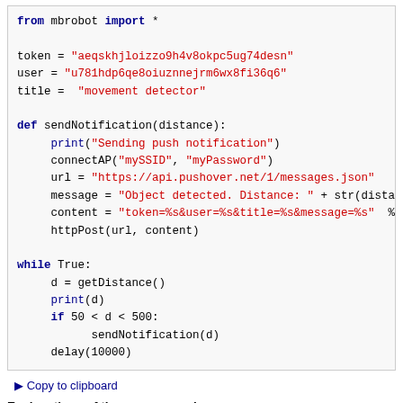from mbrobot import *

token = "aeqskhjloizzo9h4v8okpc5ug74desn"
user = "u781hdp6qe8oiuznnejrm6wx8fi36q6"
title =  "movement detector"

def sendNotification(distance):
    print("Sending push notification")
    connectAP("mySSID", "myPassword")
    url = "https://api.pushover.net/1/messages.json"
    message = "Object detected. Distance: " + str(dista
    content = "token=%s&user=%s&title=%s&message=%s"  %
    httpPost(url, content)

while True:
    d = getDistance()
    print(d)
    if 50 < d < 500:
        sendNotification(d)
    delay(10000)
▶ Copy to clipboard
Explanations of the program code:
if 50 < d < 500: Same as d > 50 and d < 500, d is between 50 mm and 500 mm
sendNotification(distance): Triggers the notification